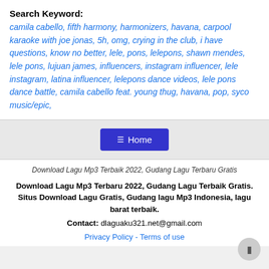Search Keyword: camila cabello, fifth harmony, harmonizers, havana, carpool karaoke with joe jonas, 5h, omg, crying in the club, i have questions, know no better, lele, pons, lelepons, shawn mendes, lele pons, lujuan james, influencers, instagram influencer, lele instagram, latina influencer, lelepons dance videos, lele pons dance battle, camila cabello feat. young thug, havana, pop, syco music/epic,
Home
Download Lagu Mp3 Terbaik 2022, Gudang Lagu Terbaru Gratis
Download Lagu Mp3 Terbaru 2022, Gudang Lagu Terbaik Gratis. Situs Download Lagu Gratis, Gudang lagu Mp3 Indonesia, lagu barat terbaik.
Contact: dlaguaku321.net@gmail.com
Privacy Policy - Terms of use